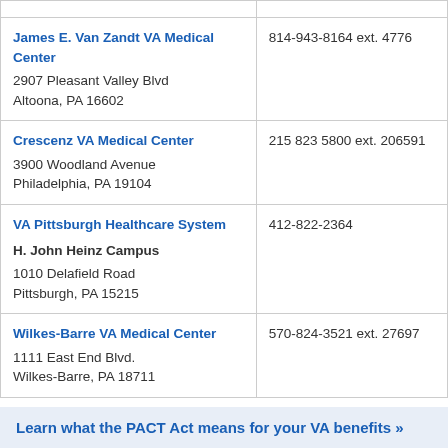| Facility | Phone |
| --- | --- |
| James E. Van Zandt VA Medical Center
2907 Pleasant Valley Blvd
Altoona, PA 16602 | 814-943-8164 ext. 4776 |
| Crescenz VA Medical Center
3900 Woodland Avenue
Philadelphia, PA 19104 | 215 823 5800 ext. 206591 |
| VA Pittsburgh Healthcare System
H. John Heinz Campus
1010 Delafield Road
Pittsburgh, PA 15215 | 412-822-2364 |
| Wilkes-Barre VA Medical Center
1111 East End Blvd.
Wilkes-Barre, PA 18711 | 570-824-3521 ext. 27697 |
Learn what the PACT Act means for your VA benefits »